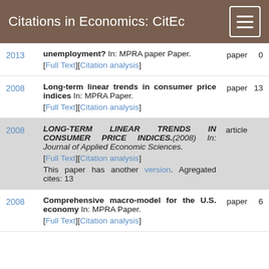Citations in Economics: CitEc
2013 | unemployment? In: MPRA paper Paper. [Full Text][Citation analysis] | paper | 0
2008 | Long-term linear trends in consumer price indices In: MPRA Paper. [Full Text][Citation analysis] | paper | 13
2008 | LONG-TERM LINEAR TRENDS IN CONSUMER PRICE INDICES.(2008) In: Journal of Applied Economic Sciences. [Full Text][Citation analysis] This paper has another version. Agregated cites: 13 | article |
2008 | Comprehensive macro-model for the U.S. economy In: MPRA Paper. [Full Text][Citation analysis] | paper | 6